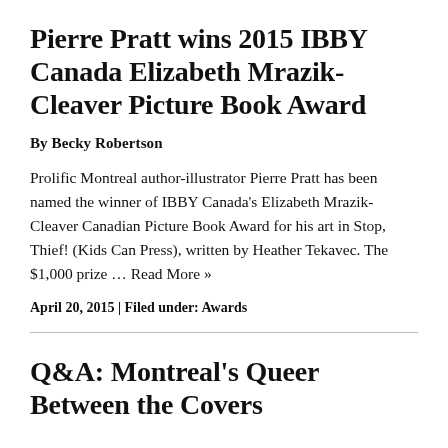Pierre Pratt wins 2015 IBBY Canada Elizabeth Mrazik-Cleaver Picture Book Award
By Becky Robertson
Prolific Montreal author-illustrator Pierre Pratt has been named the winner of IBBY Canada's Elizabeth Mrazik-Cleaver Canadian Picture Book Award for his art in Stop, Thief! (Kids Can Press), written by Heather Tekavec. The $1,000 prize … Read More »
April 20, 2015 | Filed under: Awards
Q&A: Montreal's Queer Between the Covers